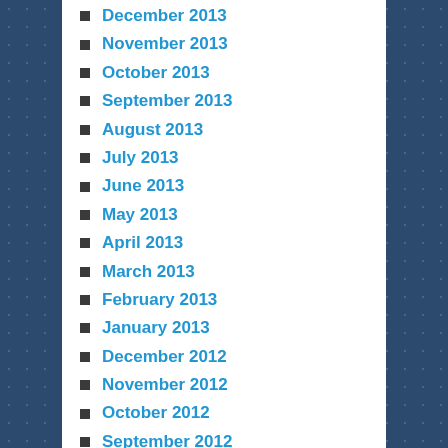December 2013
November 2013
October 2013
September 2013
August 2013
July 2013
June 2013
May 2013
April 2013
March 2013
February 2013
January 2013
December 2012
November 2012
October 2012
September 2012
August 2012
July 2012
June 2012
May 2012
January 2012
December 2011